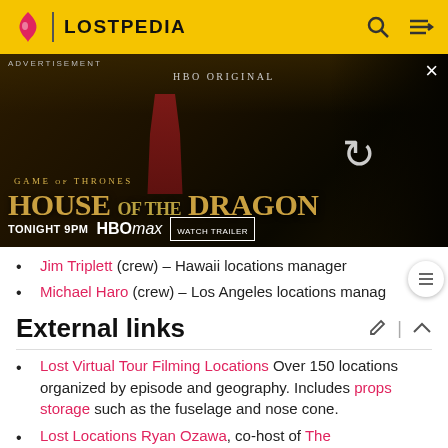LOSTPEDIA
[Figure (photo): Advertisement banner for House of the Dragon on HBO Max. Shows a figure in red dress, dragon imagery, text: GAME OF THRONES HOUSE OF THE DRAGON TONIGHT 9PM HBOMAX WATCH TRAILER. HBO ORIGINAL label at top.]
Jim Triplett (crew) – Hawaii locations manager
Michael Haro (crew) – Los Angeles locations manager
External links
Lost Virtual Tour Filming Locations Over 150 locations organized by episode and geography. Includes props storage such as the fuselage and nose cone.
Lost Locations Ryan Ozawa, co-host of The